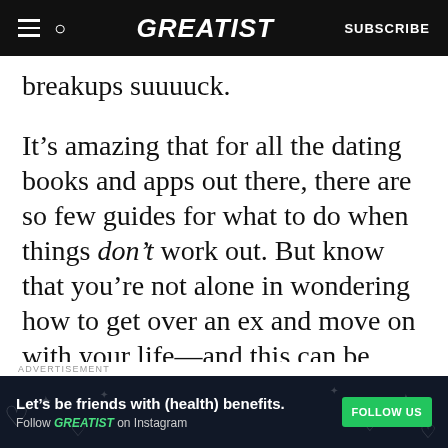GREATIST — SUBSCRIBE
breakups suuuuck.
It's amazing that for all the dating books and apps out there, there are so few guides for what to do when things don't work out. But know that you're not alone in wondering how to get over an ex and move on with your life—and this can be your place to begin.
ADVERTISEMENT
ADVERTISEMENT
[Figure (screenshot): Bottom advertisement banner: 'Let's be friends with (health) benefits. Follow GREATIST on Instagram' with a green FOLLOW US button on a dark background.]